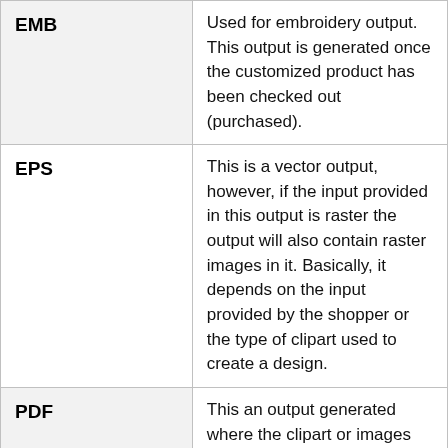| Format | Description |
| --- | --- |
| EMB | Used for embroidery output. This output is generated once the customized product has been checked out (purchased). |
| EPS | This is a vector output, however, if the input provided in this output is raster the output will also contain raster images in it. Basically, it depends on the input provided by the shopper or the type of clipart used to create a design. |
| PDF | This an output generated where the clipart or images are embedded and included in pdf. Artifi |